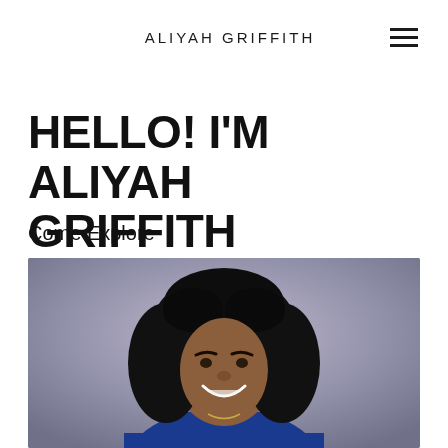ALIYAH GRIFFITH
HELLO! I'M ALIYAH GRIFFITH
Come Explore
[Figure (photo): Portrait photo of Aliyah Griffith, a young woman with long curly black hair, smiling, wearing a blue jacket, photographed against a gray-purple background.]